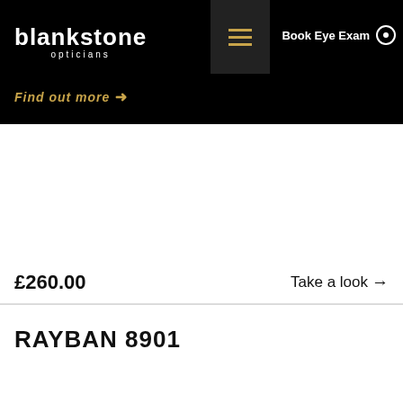blankstone opticians
Find out more →
Book Eye Exam
£260.00
Take a look →
RAYBAN 8901